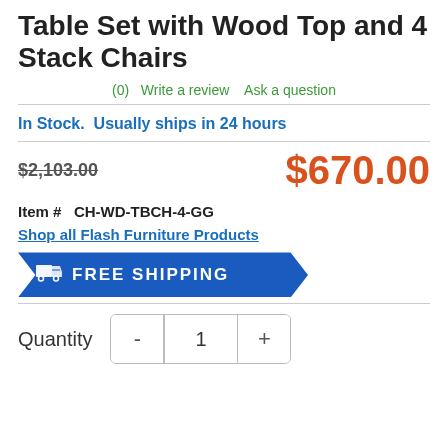Table Set with Wood Top and 4 Stack Chairs
(0)  Write a review  Ask a question
In Stock.  Usually ships in 24 hours
$2,103.00  $670.00
Item #  CH-WD-TBCH-4-GG
Shop all Flash Furniture Products
[Figure (infographic): Blue banner/ribbon shape with truck icon and text FREE SHIPPING]
Quantity  -  1  +